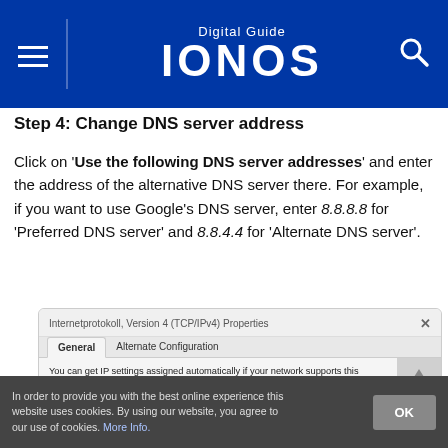Digital Guide IONOS
Step 4: Change DNS server address
Click on 'Use the following DNS server addresses' and enter the address of the alternative DNS server there. For example, if you want to use Google's DNS server, enter 8.8.8.8 for 'Preferred DNS server' and 8.8.4.4 for 'Alternate DNS server'.
[Figure (screenshot): Windows dialog box titled 'Internetprotokoll, Version 4 (TCP/IPv4) Properties' showing General and Alternate Configuration tabs, with text about IP settings and radio button for 'Obtain an IP address automatically' selected.]
In order to provide you with the best online experience this website uses cookies. By using our website, you agree to our use of cookies. More Info.